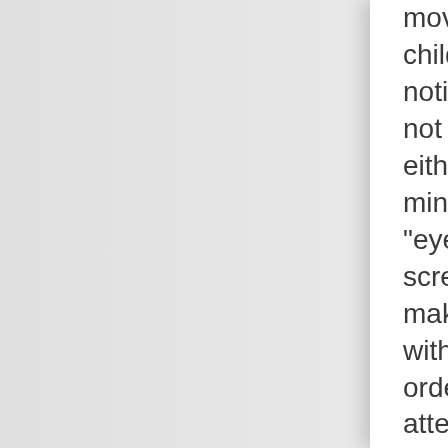movements of the child, and if it notices the child has not been watching either screen for a minute, it uses his "eyes" on his screens to try to make eye contact with the student in order to keep his attention. For that matter, to prevent a drop of attention, the robot should create intermezzos between his teaching sessions in which it makes eye contact, followed by an informal interaction to keep the student interested and